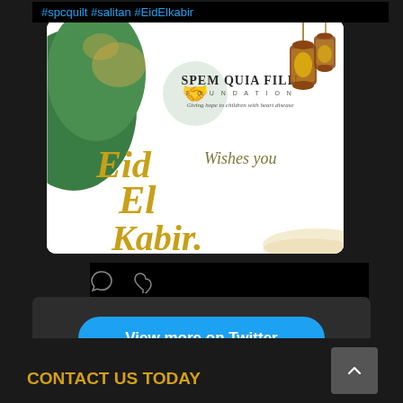#spcquilt #salitan #EidElkabir
[Figure (illustration): Spem Quia Filii Foundation Eid El Kabir wishes card with green logo, gold lanterns, and gold calligraphy text]
View more on Twitter
Learn more about privacy on Twitter
CONTACT US TODAY